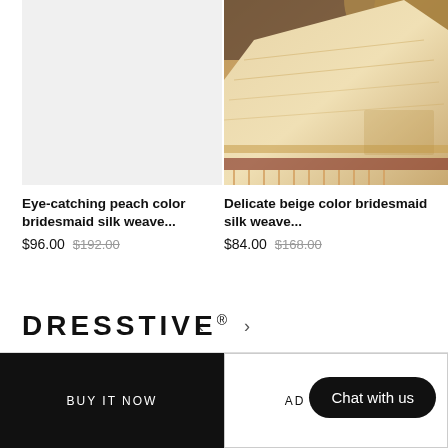[Figure (photo): Left product area showing white/empty image placeholder for peach color bridesmaid silk saree]
[Figure (photo): Right product photo showing delicate beige color bridesmaid silk saree draped on a mannequin with decorative gold border and fringe, warm tones background]
Eye-catching peach color bridesmaid silk weave...
$96.00  $192.00
Delicate beige color bridesmaid silk weave...
$84.00  $168.00
[Figure (other): Left arrow and right arrow navigation controls for product carousel]
DRESSTIVE®
BUY IT NOW
ADD
Chat with us